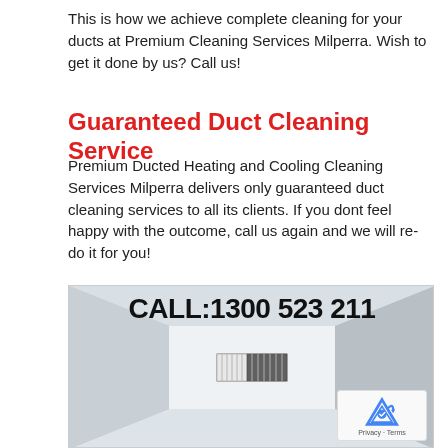This is how we achieve complete cleaning for your ducts at Premium Cleaning Services Milperra. Wish to get it done by us? Call us!
Guaranteed Duct Cleaning Service
Premium Ducted Heating and Cooling Cleaning Services Milperra delivers only guaranteed duct cleaning services to all its clients. If you dont feel happy with the outcome, call us again and we will re-do it for you!
[Figure (photo): Inside view of a duct with text overlay reading CALL:1300 523 211 in bold black text over a light grey/white duct interior with a filter/grille visible in the middle distance.]
Privacy · Terms